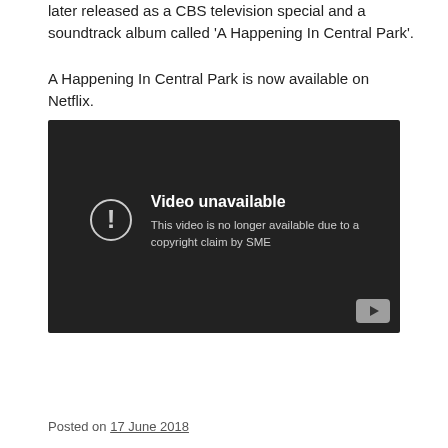later released as a CBS television special and a soundtrack album called ‘A Happening In Central Park’.
A Happening In Central Park is now available on Netflix.
[Figure (screenshot): YouTube video embed showing 'Video unavailable' error message: 'This video is no longer available due to a copyright claim by SME'. Dark background with YouTube play button icon in bottom right corner and a circle-exclamation warning icon on the left.]
Posted on 17 June 2018